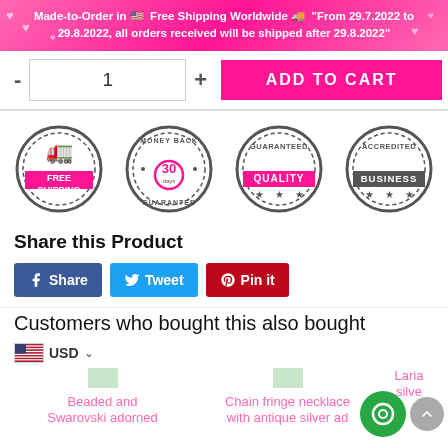Made-to-Order in 🇺🇸 Free Shipping Worldwide 🚚 "From 29.7.2022 to 29.8,2022, all orders received will be shipped after 29.8.2022"
[Figure (screenshot): Quantity selector with minus button, input box showing '1', plus button, and a hot pink ADD TO CART button]
[Figure (infographic): Four circular badge seals: FREE SHIPPING, MONEY BACK GUARANTEE 30 days, GUARANTEED QUALITY, ACCREDITED BUSINESS]
Share this Product
[Figure (screenshot): Social share buttons: Facebook Share, Twitter Tweet, Pinterest Pin it]
Customers who bought this also bought
[Figure (screenshot): USD currency selector with US flag, and two product thumbnails: 'Beaded and Swarovski adorned' and 'Chain fringe necklace with antique silver ad']